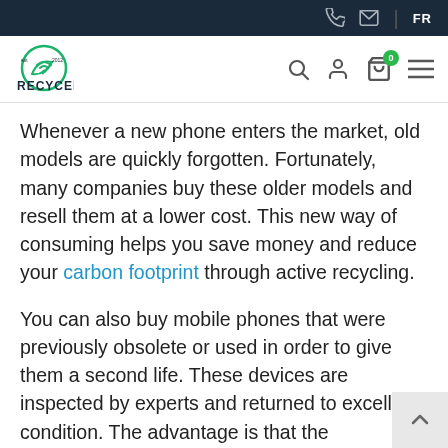FR
[Figure (logo): Recycell logo with leaf and wifi icon, text RECYCELL]
Whenever a new phone enters the market, old models are quickly forgotten. Fortunately, many companies buy these older models and resell them at a lower cost. This new way of consuming helps you save money and reduce your carbon footprint through active recycling.
You can also buy mobile phones that were previously obsolete or used in order to give them a second life. These devices are inspected by experts and returned to excellent condition. The advantage is that they are generally much cheaper. You can even choose between different carriers since the phone will be